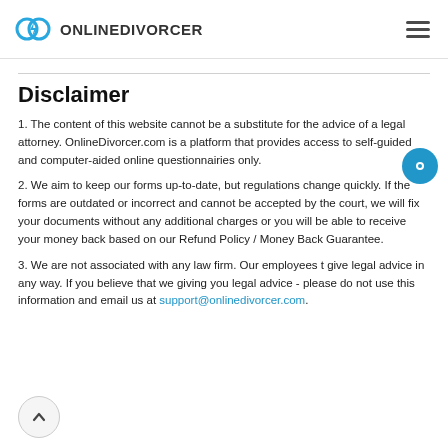[Figure (logo): OnlineDivorcer logo with two interlocking rings and a lightning bolt icon in blue, followed by the text ONLINEDIVORCER]
Disclaimer
1. The content of this website cannot be a substitute for the advice of a legal attorney. OnlineDivorcer.com is a platform that provides access to self-guided and computer-aided online questionnairies only.
2. We aim to keep our forms up-to-date, but regulations change quickly. If the forms are outdated or incorrect and cannot be accepted by the court, we will fix your documents without any additional charges or you will be able to receive your money back based on our Refund Policy / Money Back Guarantee.
3. We are not associated with any law firm. Our employees t give legal advice in any way. If you believe that we giving you legal advice - please do not use this information and email us at support@onlinedivorcer.com.